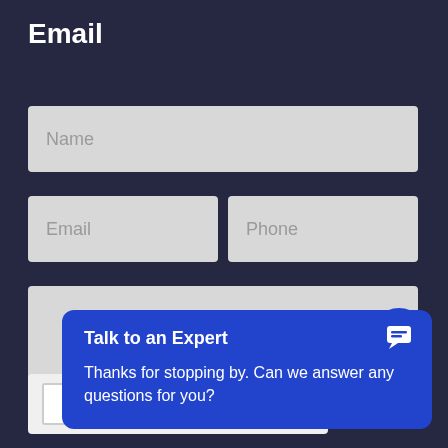Email
[Figure (screenshot): Name input field placeholder]
[Figure (screenshot): Email and Phone input fields side by side]
[Figure (screenshot): Talk to an Expert chat bubble overlay with message: Thanks for stopping by. Can we answer any questions for you?]
[Figure (screenshot): Chat icon button (blue circle with speech bubble icon)]
[Figure (screenshot): reCAPTCHA widget partially visible at bottom]